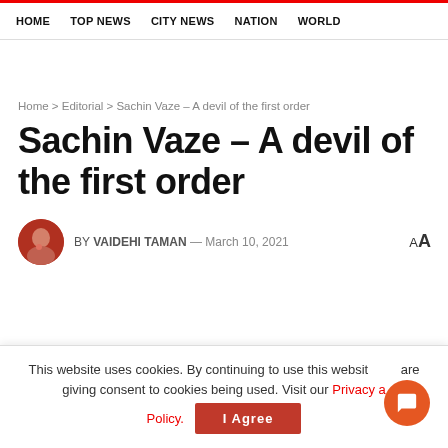HOME  TOP NEWS  CITY NEWS  NATION  WORLD
Home > Editorial > Sachin Vaze – A devil of the first order
Sachin Vaze – A devil of the first order
BY VAIDEHI TAMAN — March 10, 2021
This website uses cookies. By continuing to use this website you are giving consent to cookies being used. Visit our Privacy and Cookie Policy.
I Agree